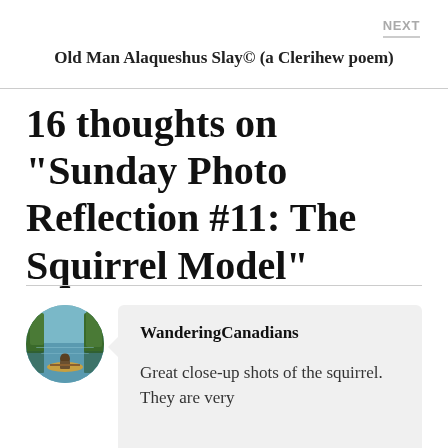NEXT
Old Man Alaqueshus Slay© (a Clerihew poem)
16 thoughts on “Sunday Photo Reflection #11: The Squirrel Model”
[Figure (photo): Circular avatar photo showing a lake scene with a person in a canoe viewed from behind, surrounded by trees reflected in calm water.]
WanderingCanadians
Great close-up shots of the squirrel. They are very